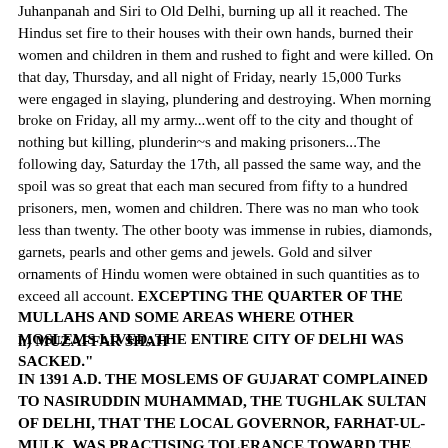Juhanpanah and Siri to Old Delhi, burning up all it reached. The Hindus set fire to their houses with their own hands, burned their women and children in them and rushed to fight and were killed. On that day, Thursday, and all night of Friday, nearly 15,000 Turks were engaged in slaying, plundering and destroying. When morning broke on Friday, all my army...went off to the city and thought of nothing but killing, plunderin~s and making prisoners...The following day, Saturday the 17th, all passed the same way, and the spoil was so great that each man secured from fifty to a hundred prisoners, men, women and children. There was no man who took less than twenty. The other booty was immense in rubies, diamonds, garnets, pearls and other gems and jewels. Gold and silver ornaments of Hindu women were obtained in such quantities as to exceed all account. EXCEPTING THE QUARTER OF THE MULLAHS AND SOME AREAS WHERE OTHER MOSLEMS LIVED, THE ENTIRE CITY OF DELHI WAS SACKED."
h) MUZAFFAR SHAH
IN 1391 A.D. THE MOSLEMS OF GUJARAT COMPLAINED TO NASIRUDDIN MUHAMMAD, THE TUGHLAK SULTAN OF DELHI, THAT THE LOCAL GOVERNOR, FARHAT-UL-MULK, WAS PRACTISING TOLERANCE TOWARD THE HINDIdS OF GUJARAT. The sultan immediately appointed Muzaffar Khan as the new governor sending Farhat-ul-Mulk away